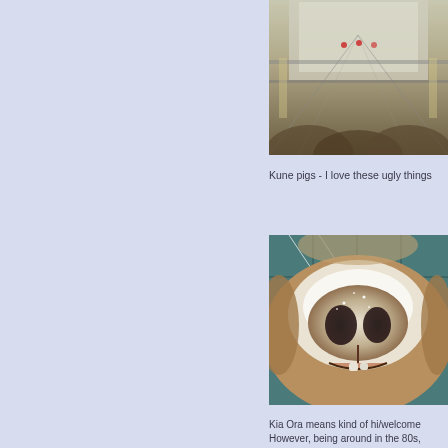[Figure (photo): Interior of what appears to be an industrial or agricultural facility, shot from below looking upward, showing metal framework, lighting, and structural elements]
Kune pigs - I love these ugly things
[Figure (photo): Extreme close-up of a Kunekune pig's face, showing its snout and small teeth, fur appearing fluffy and white around the nose area, with a wire fence visible in background]
Kia Ora means kind of hi/welcome
However, being around in the 80s,